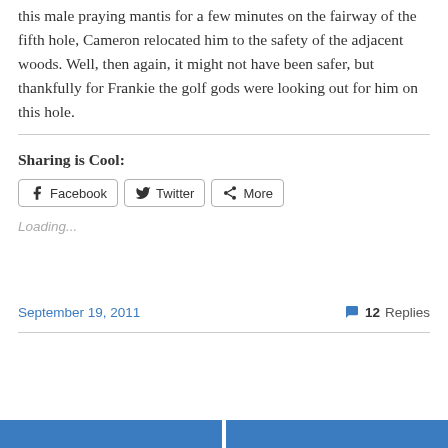this male praying mantis for a few minutes on the fairway of the fifth hole, Cameron relocated him to the safety of the adjacent woods. Well, then again, it might not have been safer, but thankfully for Frankie the golf gods were looking out for him on this hole.
Sharing is Cool:
Facebook  Twitter  More
Loading...
September 19, 2011
12 Replies